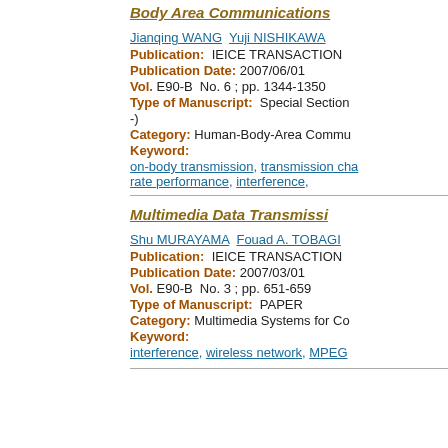Body Area Communications
Jianqing WANG  Yuji NISHIKAWA
Publication: IEICE TRANSACTIONS
Publication Date: 2007/06/01
Vol. E90-B  No. 6 ; pp. 1344-1350
Type of Manuscript: Special Section -)
Category: Human-Body-Area Commu
Keyword:
on-body transmission, transmission cha rate performance, interference,
Multimedia Data Transmissi
Shu MURAYAMA  Fouad A. TOBAGI
Publication: IEICE TRANSACTIONS
Publication Date: 2007/03/01
Vol. E90-B  No. 3 ; pp. 651-659
Type of Manuscript: PAPER
Category: Multimedia Systems for Co
Keyword:
interference, wireless network, MPEG